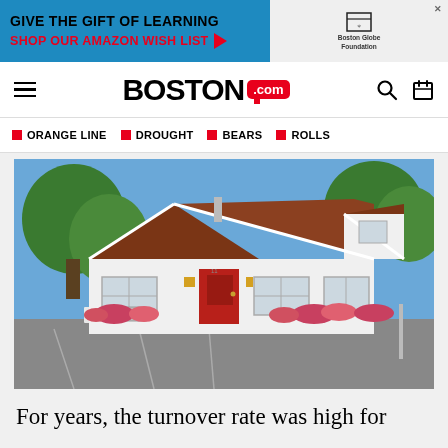[Figure (infographic): Boston Globe Foundation advertisement banner: 'Give the Gift of Learning, Shop Our Amazon Wish List' with Boston Globe Foundation logo]
BOSTON .com navigation header with hamburger menu, Boston.com logo, search and calendar icons
ORANGE LINE   DROUGHT   BEARS   ROLLS
[Figure (photo): Exterior photo of a small white Cape Cod style building with a brown/red gabled roof, red front door, flower gardens, and a parking lot in front, on a sunny day with blue sky and trees in background]
For years, the turnover rate was high for